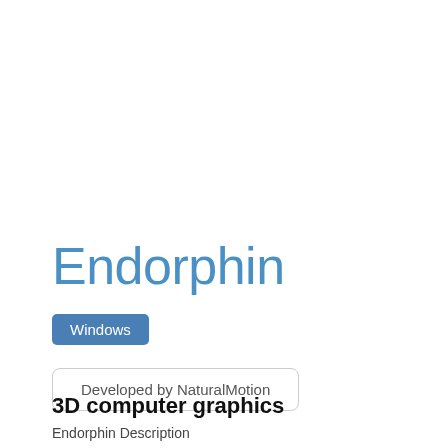Endorphin
Windows
Developed by NaturalMotion
3D computer graphics
Endorphin Description